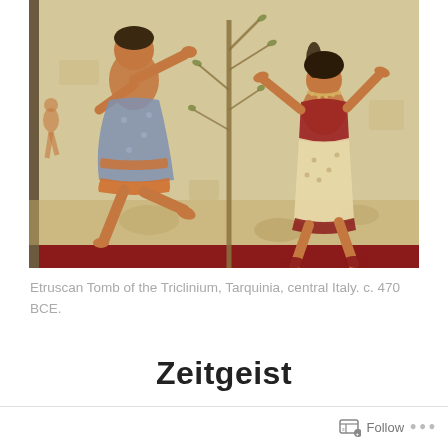[Figure (illustration): Ancient Etruscan fresco showing two dancing figures in colorful garments separated by a tree branch. Left figure wears blue-grey patterned dress, right figure wears red and cream outfit with jewelry. Painted on aged cream/tan background with red border at bottom.]
Etruscan Tomb of the Triclinium, Tarquinia, central Italy. c. 470 BCE.
Zeitgeist
Follow ...